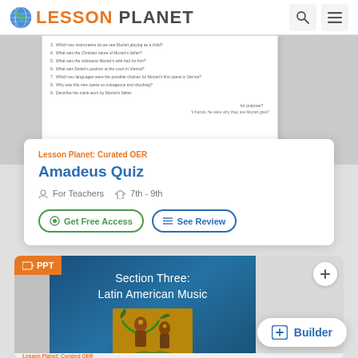Lesson Planet
[Figure (screenshot): Preview of a quiz document with numbered questions about Mozart/Amadeus]
Lesson Planet: Curated OER
Amadeus Quiz
For Teachers  7th - 9th
Get Free Access  See Review
[Figure (screenshot): PPT slide preview showing Section Three: Latin American Music with an illustration of indigenous musicians]
Lesson Planet: Curated OER
Builder